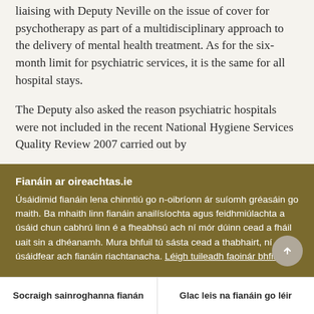liaising with Deputy Neville on the issue of cover for psychotherapy as part of a multidisciplinary approach to the delivery of mental health treatment. As for the six-month limit for psychiatric services, it is the same for all hospital stays.
The Deputy also asked the reason psychiatric hospitals were not included in the recent National Hygiene Services Quality Review 2007 carried out by
Fianáin ar oireachtas.ie
Úsáidimid fianáin lena chinntiú go n-oibríonn ár suíomh gréasáin go maith. Ba mhaith linn fianáin anailísíochta agus feidhmiúlachta a úsáid chun cabhrú linn é a fheabhsú ach ní mór dúinn cead a fháil uait sin a dhéanamh. Mura bhfuil tú sásta cead a thabhairt, ní úsáidfear ach fianáin riachtanacha. Léigh tuileadh faoinár bhfianáin
Socraigh sainroghanna fianán
Glac leis na fianáin go léir